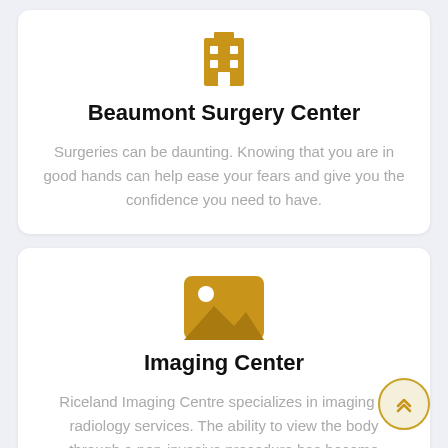[Figure (illustration): Gold/amber colored building/hospital icon at top of Surgery Center card]
Beaumont Surgery Center
Surgeries can be daunting. Knowing that you are in good hands can help ease your fears and give you the confidence you need to have.
[Figure (illustration): Gold/amber colored image/photo placeholder icon (landscape with sun) at top of Imaging Center card]
Imaging Center
Riceland Imaging Centre specializes in imaging & radiology services. The ability to view the body through a non-invasive procedure has become invaluable.